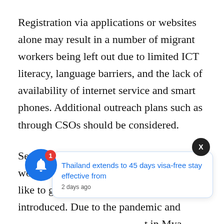Registration via applications or websites alone may result in a number of migrant workers being left out due to limited ICT literacy, language barriers, and the lack of availability of internet service and smart phones. Additional outreach plans such as through CSOs should be considered.
Secondly, an amnesty policy for migrant workers with document issues who would like to get vaccinated should be introduced. Due to the pandemic and [notification overlay] t in Mya[notification overlay] ers are not able to leave Thailand and are [cut off]
[Figure (screenshot): Notification bell icon (blue circle with white bell, red badge showing '1') and a notification card overlay reading 'Thailand extends to 45 days visa-free stay effective from' with '2 days ago' timestamp, plus a black X close button.]